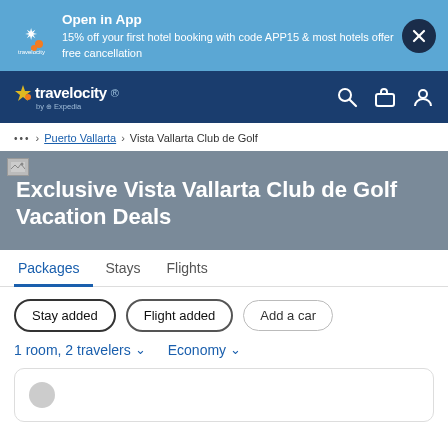Open in App
15% off your first hotel booking with code APP15 & most hotels offer free cancellation
travelocity by Expedia
... > Puerto Vallarta > Vista Vallarta Club de Golf
Exclusive Vista Vallarta Club de Golf Vacation Deals
Packages  Stays  Flights
Stay added  Flight added  Add a car
1 room, 2 travelers   Economy